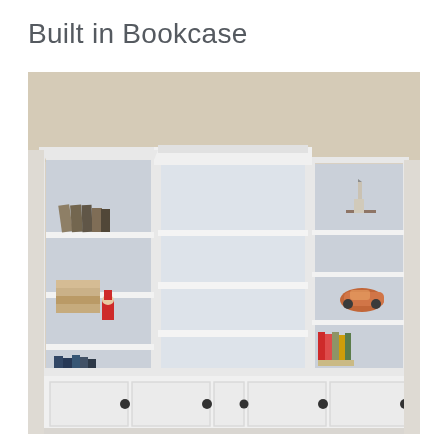Built in Bookcase
[Figure (photo): A white built-in bookcase with three sections — a tall left section with books and an elf figurine, a wide center section with empty shelves, and a right section with small decorative items including a toy car and books. Below the bookcase is a white cabinet with multiple doors and dark round knobs. The room has beige/tan walls.]